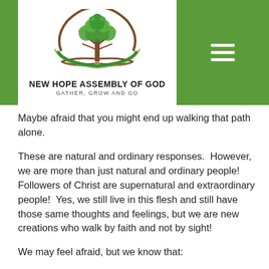[Figure (logo): New Hope Assembly of God logo — a tree with green leaves inside a circular arc, with an open book at the base, brown trunk, green circle. Below: church name and tagline.]
Maybe afraid that you might end up walking that path alone.
These are natural and ordinary responses.  However, we are more than just natural and ordinary people!  Followers of Christ are supernatural and extraordinary people!  Yes, we still live in this flesh and still have those same thoughts and feelings, but we are new creations who walk by faith and not by sight!
We may feel afraid, but we know that: